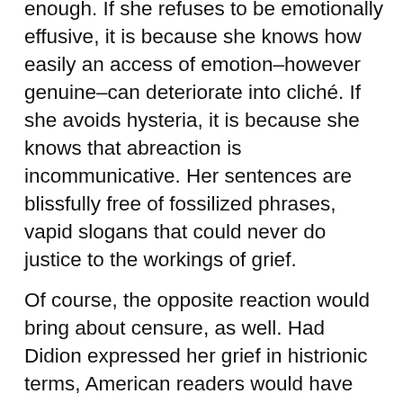enough.  If she refuses to be emotionally effusive, it is because she knows how easily an access of emotion–however genuine–can deteriorate into cliché.  If she avoids hysteria, it is because she knows that abreaction is incommunicative.  Her sentences are blissfully free of fossilized phrases, vapid slogans that could never do justice to the workings of grief.
Of course, the opposite reaction would bring about censure, as well.  Had Didion expressed her grief in histrionic terms, American readers would have asked, rhetorically, "Why can't she just get over it."  (I deliberately omitted the question mark.)  The appropriate response to the death of the beloved is temperate mourning.